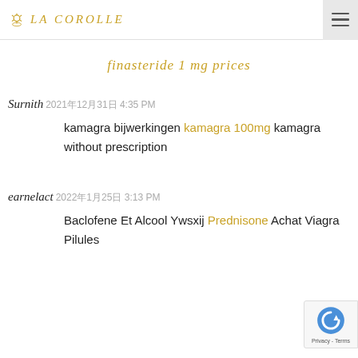LA COROLLE
finasteride 1 mg prices
Surnith 2021年12月31日 4:35 PM
kamagra bijwerkingen kamagra 100mg kamagra without prescription
earnelact 2022年1月25日 3:13 PM
Baclofene Et Alcool Ywsxij Prednisone Achat Viagra Pilules